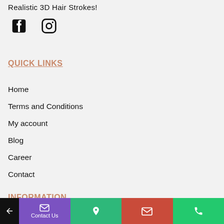Realistic 3D Hair Strokes!
[Figure (illustration): Facebook and Instagram social media icons]
QUICK LINKS
Home
Terms and Conditions
My account
Blog
Career
Contact
INFORMATION
Back | Contact Us | Location | Mail | Phone